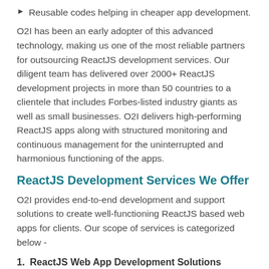Reusable codes helping in cheaper app development.
O2I has been an early adopter of this advanced technology, making us one of the most reliable partners for outsourcing ReactJS development services. Our diligent team has delivered over 2000+ ReactJS development projects in more than 50 countries to a clientele that includes Forbes-listed industry giants as well as small businesses. O2I delivers high-performing ReactJS apps along with structured monitoring and continuous management for the uninterrupted and harmonious functioning of the apps.
ReactJS Development Services We Offer
O2I provides end-to-end development and support solutions to create well-functioning ReactJS based web apps for clients. Our scope of services is categorized below -
1. ReactJS Web App Development Solutions
O2I's experts have a strong command over ReactJS and have dexterity in building highly scalable web apps using ReactJS. It includes -